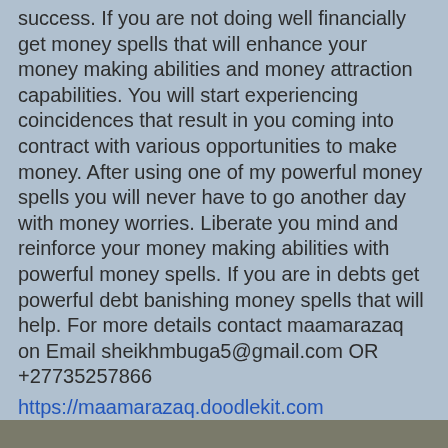success. If you are not doing well financially get money spells that will enhance your money making abilities and money attraction capabilities. You will start experiencing coincidences that result in you coming into contract with various opportunities to make money. After using one of my powerful money spells you will never have to go another day with money worries. Liberate you mind and reinforce your money making abilities with powerful money spells. If you are in debts get powerful debt banishing money spells that will help. For more details contact maamarazaq on Email sheikhmbuga5@gmail.com OR +27735257866
https://maamarazaq.doodlekit.com
http://bestlovespells.over-blog.com
https://mamarazaq.blogspot.com
https://maamarazaqspellscaster.podbean.com
[Figure (photo): Photo strip at the bottom of the page, partially visible]